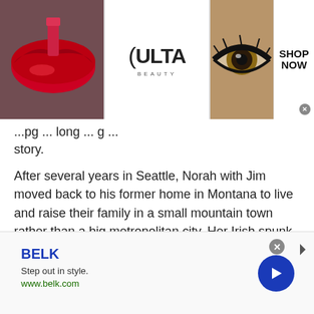[Figure (illustration): ULTA Beauty advertisement banner showing lips, makeup brush, eye makeup, ULTA logo, eye, and SHOP NOW call to action]
...pg ... long ... story.
After several years in Seattle, Norah with Jim moved back to his former home in Montana to live and raise their family in a small mountain town rather than a big metropolitan city. Her Irish spunk fit right in as she raised her four children and gave every room in the house her special touch. She encouraged all activity and joined in to the delight of her children. Everyone sought her
[Figure (illustration): BELK advertisement banner with text: BELK, Step out in style., www.belk.com, with blue arrow button]